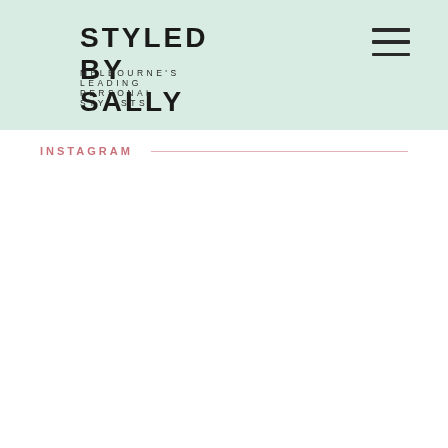STYLED BY SALLY
MELBOURNE'S LEADING PERSONAL STYLISTS
INSTAGRAM